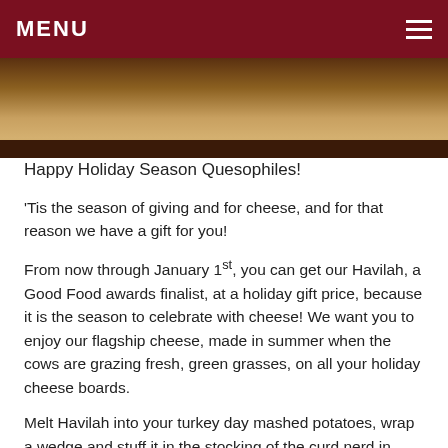MENU
[Figure (photo): Close-up photo of cheese on a wooden board, warm tones of brown and gold]
Happy Holiday Season Quesophiles!
‘Tis the season of giving and for cheese, and for that reason we have a gift for you!
From now through January 1st, you can get our Havilah, a Good Food awards finalist, at a holiday gift price, because it is the season to celebrate with cheese! We want you to enjoy our flagship cheese, made in summer when the cows are grazing fresh, green grasses, on all your holiday cheese boards.
Melt Havilah into your turkey day mashed potatoes, wrap a wedge and stuff it in the stocking of the curd nerd in your life, grate it up and mix it into your Hanukkah latkes, or bring it to your holiday celebrations this season. Havilah pairs well with ports, passitos, and